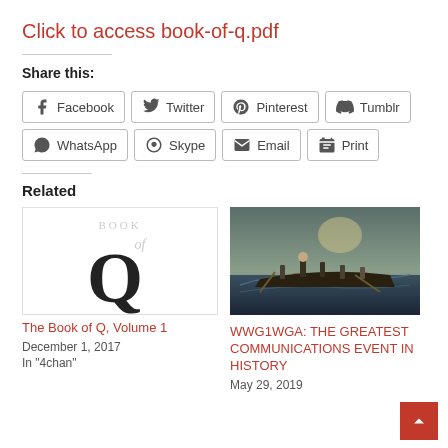Click to access book-of-q.pdf
Share this:
Facebook
Twitter
Pinterest
Tumblr
WhatsApp
Skype
Email
Print
Related
[Figure (illustration): Book of Q cover image showing large Q letter]
The Book of Q, Volume 1
December 1, 2017
In "4chan"
[Figure (photo): Historical painting of Washington Crossing the Delaware]
WWG1WGA: THE GREATEST COMMUNICATIONS EVENT IN HISTORY
May 29, 2019